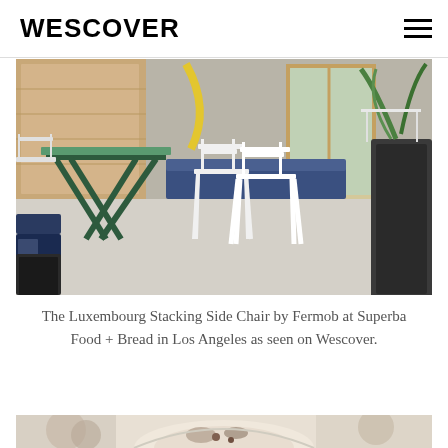WESCOVER
[Figure (photo): Outdoor patio of Superba Food + Bread restaurant in Los Angeles, showing white Luxembourg stacking side chairs by Fermob around a green bistro table, with wooden bench seating and blue cushions in the background, and plants in dark pots.]
The Luxembourg Stacking Side Chair by Fermob at Superba Food + Bread in Los Angeles as seen on Wescover.
[Figure (photo): Partial view of a food dish, cropped at the bottom of the page.]